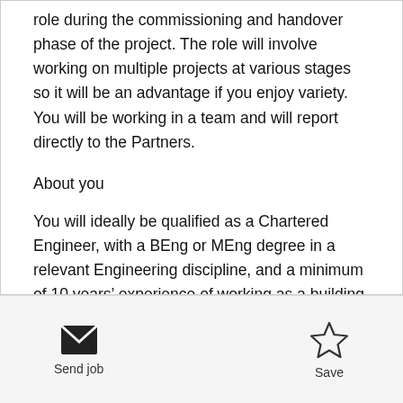role during the commissioning and handover phase of the project. The role will involve working on multiple projects at various stages so it will be an advantage if you enjoy variety.  You will be working in a team and will report directly to the Partners.
About you
You will ideally be qualified as a Chartered Engineer, with a BEng or MEng degree in a relevant Engineering discipline, and a minimum of 10 years' experience of working as a building services design engineer. You will be acting as the lead engineer on projects with a view to taking on increasing
Send job   Save